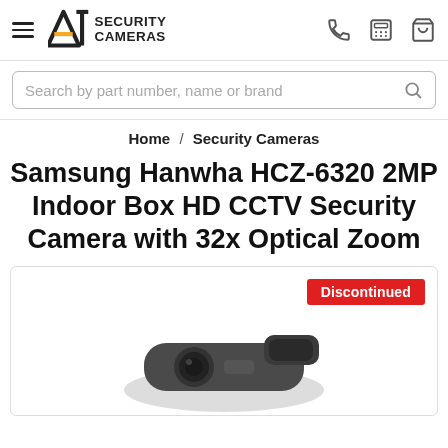A1 Security Cameras
Search by part number, name or brand
Home / Security Cameras
Samsung Hanwha HCZ-6320 2MP Indoor Box HD CCTV Security Camera with 32x Optical Zoom
[Figure (photo): Product image area with a Discontinued badge in red and a partial view of a security camera at the bottom.]